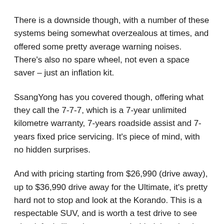There is a downside though, with a number of these systems being somewhat overzealous at times, and offered some pretty average warning noises. There's also no spare wheel, not even a space saver – just an inflation kit.
SsangYong has you covered though, offering what they call the 7-7-7, which is a 7-year unlimited kilometre warranty, 7-years roadside assist and 7-years fixed price servicing. It's piece of mind, with no hidden surprises.
And with pricing starting from $26,990 (drive away), up to $36,990 drive away for the Ultimate, it's pretty hard not to stop and look at the Korando. This is a respectable SUV, and is worth a test drive to see what it feels like when you are behind the wheel.